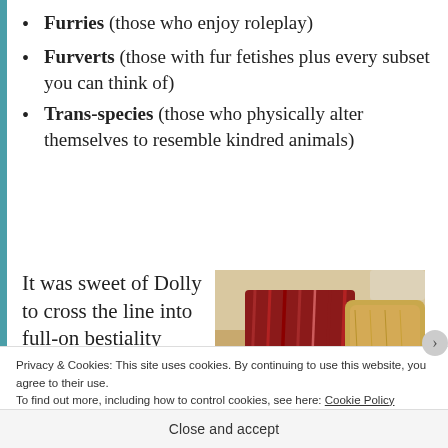Furries (those who enjoy roleplay)
Furverts (those with fur fetishes plus every subset you can think of)
Trans-species (those who physically alter themselves to resemble kindred animals)
It was sweet of Dolly to cross the line into full-on bestiality
[Figure (photo): A stuffed animal or doll with red yarn hair lying next to a furry stuffed animal, photographed from above on a light surface]
Privacy & Cookies: This site uses cookies. By continuing to use this website, you agree to their use.
To find out more, including how to control cookies, see here: Cookie Policy
Close and accept